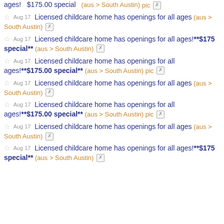ages! $175.00 special (aus > South Austin) pic [x]
☆ Aug 17 Licensed childcare home has openings for all ages (aus > South Austin) [x]
☆ Aug 17 Licensed childcare home has openings for all ages!**$175 special** (aus > South Austin) [x]
☆ Aug 17 Licensed childcare home has openings for all ages!**$175.00 special** (aus > South Austin) pic [x]
☆ Aug 17 Licensed childcare home has openings for all ages (aus > South Austin) [x]
☆ Aug 17 Licensed childcare home has openings for all ages!**$175.00 special** (aus > South Austin) pic [x]
☆ Aug 17 Licensed childcare home has openings for all ages (aus > South Austin) [x]
☆ Aug 17 Licensed childcare home has openings for all ages!**$175 special** (aus > South Austin) [x]